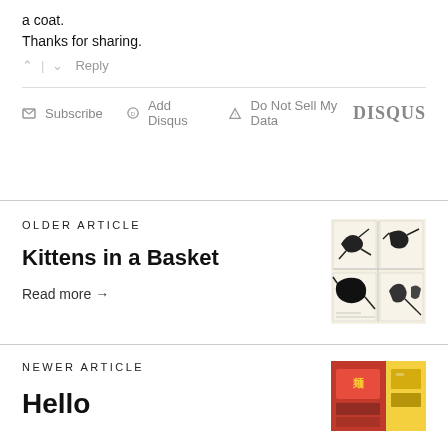a coat.
Thanks for sharing.
^ | v  Reply
Subscribe  Add Disqus  Do Not Sell My Data  DISQUS
OLDER ARTICLE
Kittens in a Basket
Read more →
[Figure (illustration): Comic strip panels showing animated cat figures running and jumping in black ink on aged paper]
NEWER ARTICLE
Hello
[Figure (photo): Partial view of food packaging, appears to be snack or noodle product with red and yellow colors]